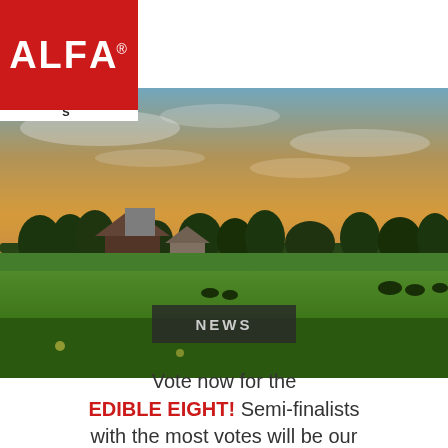[Figure (logo): ALFA Farmers logo — red square background with white bold ALFA text and registered trademark, white bar below reading FARMERS in spaced capital letters]
[Figure (other): Red circle phone icon button in the header navigation area]
[Figure (other): Dark/black rectangle button with white bold text MENU in the header navigation area]
[Figure (photo): Wide landscape photograph of a farm at sunset/golden hour — green fields in foreground, red barn and farmhouse in middle distance, trees along horizon, dramatic orange and blue sky with clouds]
NEWS
Vote now for the EDIBLE EIGHT! Semi-finalists with the most votes will be our